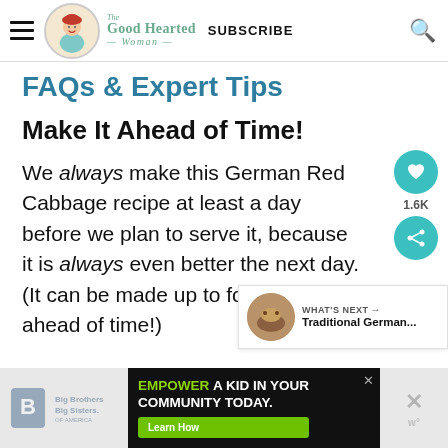The Good Hearted Woman — SUBSCRIBE
FAQs & Expert Tips
Make It Ahead of Time!
We always make this German Red Cabbage recipe at least a day before we plan to serve it, because it is always even better the next day. (It can be made up to four days ahead of time!)
[Figure (other): Social share sidebar with heart button showing 1.6K saves and a share button]
[Figure (other): What's Next card with thumbnail image and text 'Traditional German...']
[Figure (other): Advertisement banner: Big Brothers Big Sisters logo on left, center ad reads EMPOWER A KID IN YOUR COMMUNITY TODAY with Learn How button]